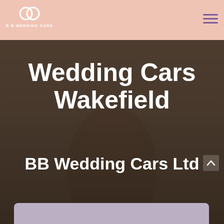B B WEDDING CARS
[Figure (screenshot): Website screenshot of BB Wedding Cars Ltd homepage showing a bride in the background with dark overlay. Header has a pink/salmon background with the BB Wedding Cars logo (interlocking rings). Main content shows 'Wedding Cars Wakefield' as large white bold heading and 'BB Wedding Cars Ltd' as subheading.]
Wedding Cars Wakefield
BB Wedding Cars Ltd